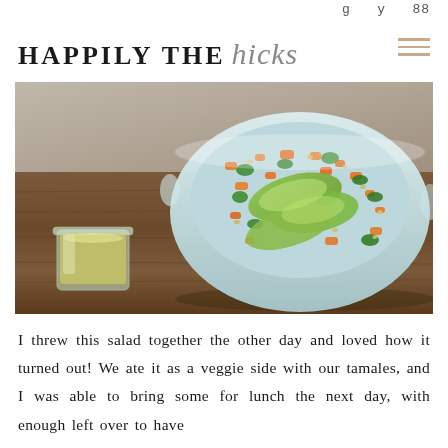g y 88
HAPPILY THE hicks
[Figure (photo): A white ceramic bowl filled with a colorful salad containing avocado slices, orange/red vegetables (carrots or roasted sweet potato), green leafy vegetables, and sunflower seeds. Next to the bowl on a dark wooden table is a small glass jar containing a yellow-green dressing or oil.]
I threw this salad together the other day and loved how it turned out! We ate it as a veggie side with our tamales, and I was able to bring some for lunch the next day, with enough left over to have